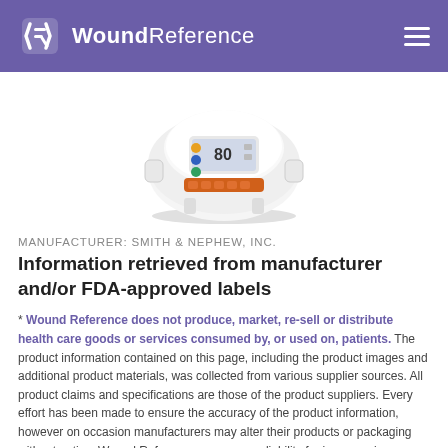WoundReference
[Figure (photo): Medical device — a white dome-shaped wound therapy unit with a digital display showing '80', colored indicator buttons, and orange control strip, on a white background.]
MANUFACTURER: SMITH & NEPHEW, INC.
Information retrieved from manufacturer and/or FDA-approved labels
* Wound Reference does not produce, market, re-sell or distribute health care goods or services consumed by, or used on, patients. The product information contained on this page, including the product images and additional product materials, was collected from various supplier sources. All product claims and specifications are those of the product suppliers. Every effort has been made to ensure the accuracy of the product information, however on occasion manufacturers may alter their products or packaging without notice. Wound Reference assumes no liability for inaccuracies or misstatements about products. The properties of a product may change or be inaccurate following the posting or printing of the product information in the document, either in the print or online version. Due to product changes